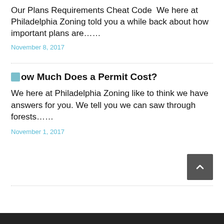Our Plans Requirements Cheat Code  We here at Philadelphia Zoning told you a while back about how important plans are……
November 8, 2017
How Much Does a Permit Cost?
We here at Philadelphia Zoning like to think we have answers for you. We tell you we can saw through forests……
November 1, 2017